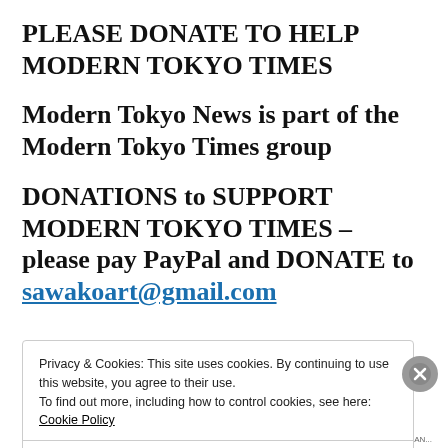PLEASE DONATE TO HELP MODERN TOKYO TIMES
Modern Tokyo News is part of the Modern Tokyo Times group
DONATIONS to SUPPORT MODERN TOKYO TIMES – please pay PayPal and DONATE to sawakoart@gmail.com
Privacy & Cookies: This site uses cookies. By continuing to use this website, you agree to their use.
To find out more, including how to control cookies, see here: Cookie Policy
Close and accept